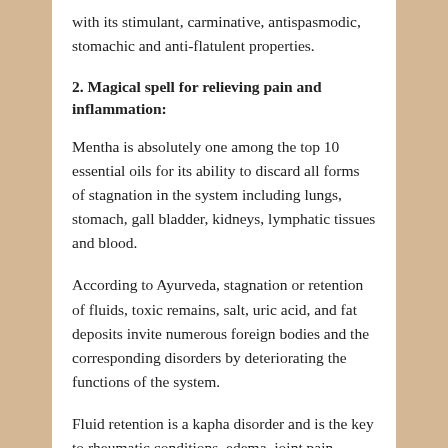with its stimulant, carminative, antispasmodic, stomachic and anti-flatulent properties.
2. Magical spell for relieving pain and inflammation:
Mentha is absolutely one among the top 10 essential oils for its ability to discard all forms of stagnation in the system including lungs, stomach, gall bladder, kidneys, lymphatic tissues and blood.
According to Ayurveda, stagnation or retention of fluids, toxic remains, salt, uric acid, and fat deposits invite numerous foreign bodies and the corresponding disorders by deteriorating the functions of the system.
Fluid retention is a kapha disorder and is the key to rheumatic conditions, edema, joint pain, obesity, low level of insulin resistance, fibroids, increased blood pressure and heart problems.
With its power to reduce kapha imbalance, Mentha oil